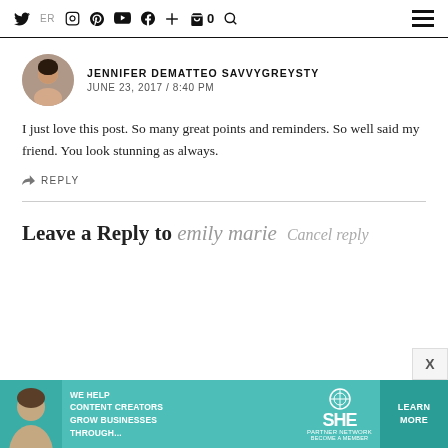Social media icons navigation bar with Twitter, Instagram, Pinterest, YouTube, Facebook, plus, cart (0), search, and hamburger menu
JENNIFER DEMATTEO SAVVYGREYSTY
JUNE 23, 2017 / 8:40 PM
I just love this post. So many great points and reminders. So well said my friend. You look stunning as always.
REPLY
Leave a Reply to emily marie   Cancel reply
[Figure (photo): Advertisement banner: We help content creators grow businesses through... SHE Media Partner Network Become a Member Learn More]